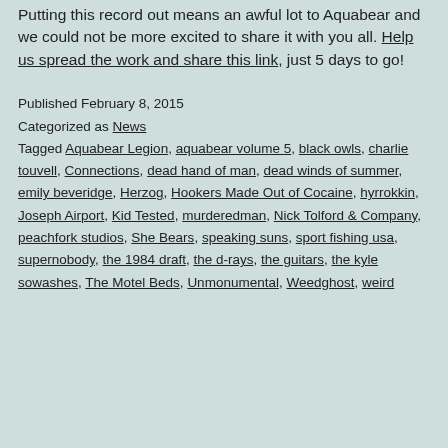Putting this record out means an awful lot to Aquabear and we could not be more excited to share it with you all. Help us spread the work and share this link, just 5 days to go!
Published February 8, 2015
Categorized as News
Tagged Aquabear Legion, aquabear volume 5, black owls, charlie touvell, Connections, dead hand of man, dead winds of summer, emily beveridge, Herzog, Hookers Made Out of Cocaine, hyrrokkin, Joseph Airport, Kid Tested, murderedman, Nick Tolford & Company, peachfork studios, She Bears, speaking suns, sport fishing usa, supernobody, the 1984 draft, the d-rays, the guitars, the kyle sowashes, The Motel Beds, Unmonumental, Weedghost, weird